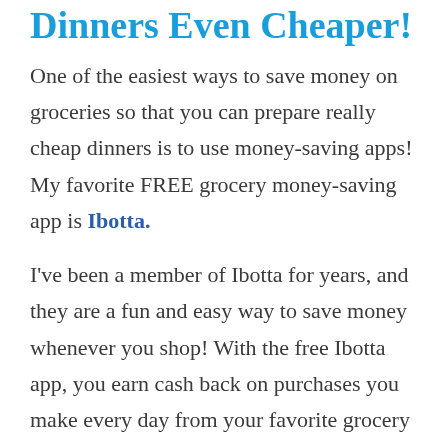Dinners Even Cheaper!
One of the easiest ways to save money on groceries so that you can prepare really cheap dinners is to use money-saving apps! My favorite FREE grocery money-saving app is Ibotta.
I've been a member of Ibotta for years, and they are a fun and easy way to save money whenever you shop! With the free Ibotta app, you earn cash back on purchases you make every day from your favorite grocery and other stores such as